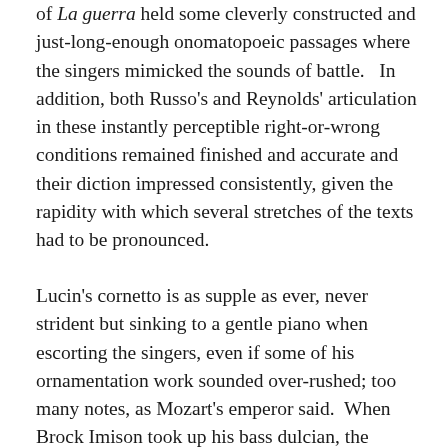of La guerra held some cleverly constructed and just-long-enough onomatopoeic passages where the singers mimicked the sounds of battle.   In addition, both Russo's and Reynolds' articulation in these instantly perceptible right-or-wrong conditions remained finished and accurate and their diction impressed consistently, given the rapidity with which several stretches of the texts had to be pronounced.
Lucin's cornetto is as supple as ever, never strident but sinking to a gentle piano when escorting the singers, even if some of his ornamentation work sounded over-rushed; too many notes, as Mozart's emperor said.  When Brock Imison took up his bass dulcian, the